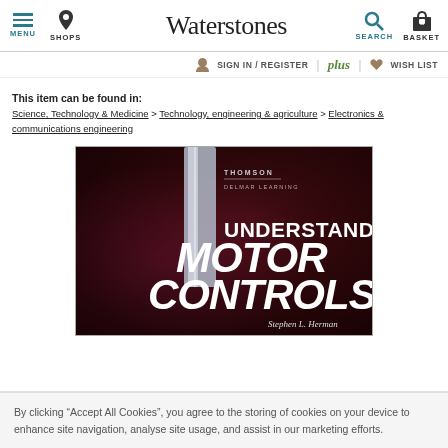Waterstones — MENU | SHOPS | SEARCH | BASKET
SIGN IN / REGISTER | plus | WISH LIST
This item can be found in:
Science, Technology & Medicine > Technology, engineering & agriculture > Electronics & communications engineering
[Figure (photo): Book cover of 'Understanding Motor Controls' by Stephen L. Herman, published by Thomson Delmar Learning. Dark red/purple mechanical background with large bold white italic text.]
By clicking “Accept All Cookies”, you agree to the storing of cookies on your device to enhance site navigation, analyse site usage, and assist in our marketing efforts.